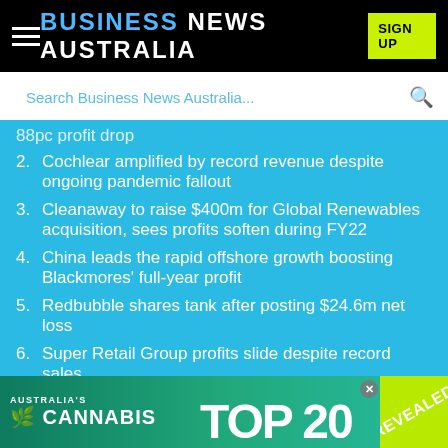BUSINESS NEWS AUSTRALIA
Search Business News Australia...
88pc profit drop
2. Cochlear amplified by record revenue despite ongoing pandemic fallout
3. Cleanaway to raise $400m for Global Renewables acquisition, sees profits soften during FY22
4. China leads the rapid offshore growth boosting Blackmores' full-year profit
5. Redbubble shares tank after posting $24.6m net loss
6. Super Retail Group profits slide despite record sales
7. Skip bin giant Bingo Industries pleads guilty to criminal cartel charges
8. [partially visible item]
[Figure (infographic): Advertisement banner: Australia's Cannabis Top 20 Revealed]